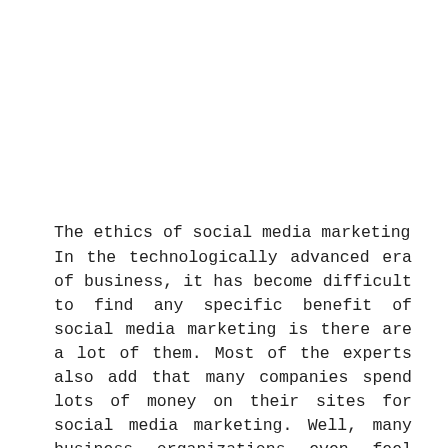The ethics of social media marketing
In the technologically advanced era of business, it has become difficult to find any specific benefit of social media marketing is there are a lot of them. Most of the experts also add that many companies spend lots of money on their sites for social media marketing. Well, many business organizations even feel that social media sites can bring some risk to online properties of the business. Hence, many organizations consider FaceBook as a plague of